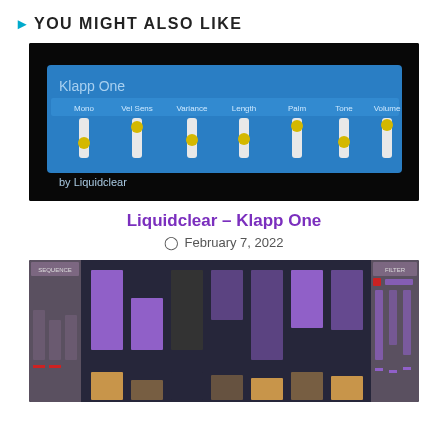YOU MIGHT ALSO LIKE
[Figure (screenshot): Screenshot of Klapp One plugin by Liquidclear showing a dark interface with sliders for Mono, Vel Sens, Variance, Length, Palm, Tone, and Volume controls on a blue panel.]
Liquidclear – Klapp One
February 7, 2022
[Figure (screenshot): Screenshot of a DAW or sequencer interface showing a piano roll or step sequencer with purple and orange/tan vertical bars on a dark background, with mixer/filter panels on the sides.]